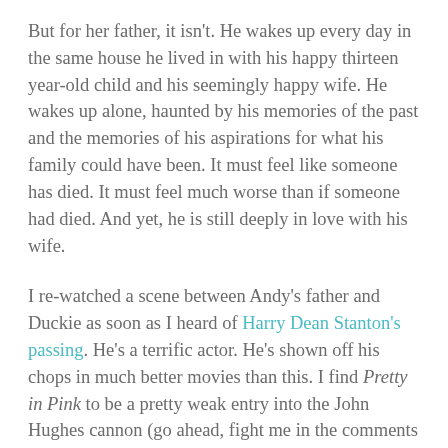But for her father, it isn't. He wakes up every day in the same house he lived in with his happy thirteen year-old child and his seemingly happy wife. He wakes up alone, haunted by his memories of the past and the memories of his aspirations for what his family could have been. It must feel like someone has died. It must feel much worse than if someone had died. And yet, he is still deeply in love with his wife.
I re-watched a scene between Andy's father and Duckie as soon as I heard of Harry Dean Stanton's passing. He's a terrific actor. He's shown off his chops in much better movies than this. I find Pretty in Pink to be a pretty weak entry into the John Hughes cannon (go ahead, fight me in the comments if you will), but it's Harry Dean Stanton who offers the one